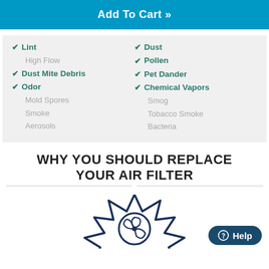Add To Cart »
✓ Lint
High Flow
✓ Dust Mite Debris
✓ Odor
Mold Spores
Smoke
Aerosols
✓ Dust
✓ Pollen
✓ Pet Dander
✓ Chemical Vapors
Smog
Tobacco Smoke
Bacteria
WHY YOU SHOULD REPLACE YOUR AIR FILTER
[Figure (illustration): Fan/air filter icon with starburst/explosion graphic and a Help button overlay]